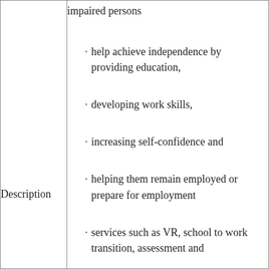impaired persons
help achieve independence by providing education,
developing work skills,
increasing self-confidence and
Description
helping them remain employed or prepare for employment
services such as VR, school to work transition, assessment and